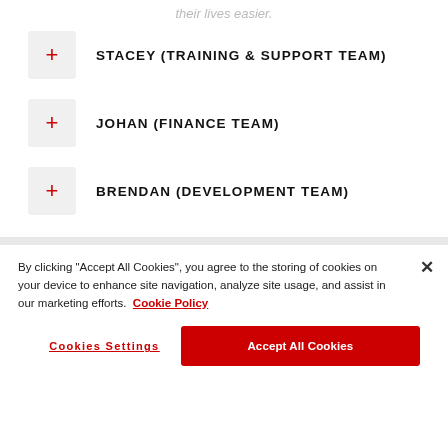their lives easier.
STACEY (TRAINING & SUPPORT TEAM)
JOHAN (FINANCE TEAM)
BRENDAN (DEVELOPMENT TEAM)
By clicking "Accept All Cookies", you agree to the storing of cookies on your device to enhance site navigation, analyze site usage, and assist in our marketing efforts. Cookie Policy
Cookies Settings
Accept All Cookies